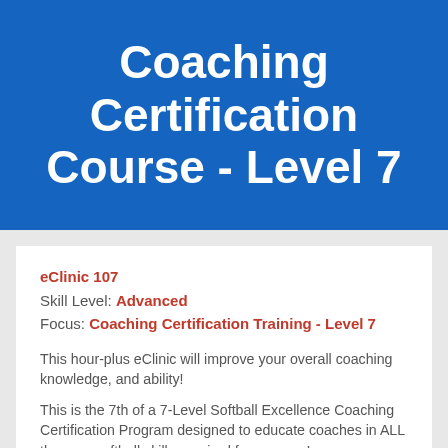Coaching Certification Course - Level 7
eClinic 107
Skill Level: Advanced
Focus: Coaching Certification Training - Level 7
This hour-plus eClinic will improve your overall coaching knowledge, and ability!
This is the 7th of a 7-Level Softball Excellence Coaching Certification Program designed to educate coaches in ALL the core softball skills required for success!